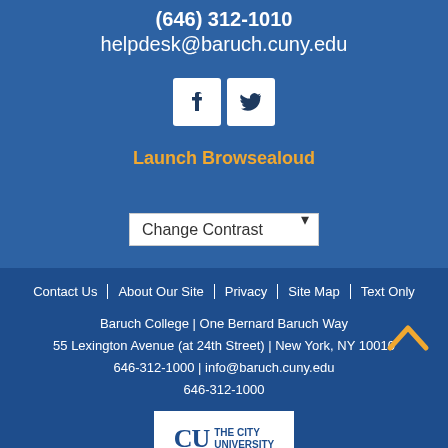(646) 312-1010
helpdesk@baruch.cuny.edu
[Figure (other): Facebook and Twitter social media icon buttons (white squares with dark icons)]
Launch Browsealoud
Change Contrast (dropdown selector)
Contact Us | About Our Site | Privacy | Site Map | Text Only
Baruch College | One Bernard Baruch Way
55 Lexington Avenue (at 24th Street) | New York, NY 10010
646-312-1000 | info@baruch.cuny.edu
646-312-1000
[Figure (logo): CUNY - The City University logo in white box]